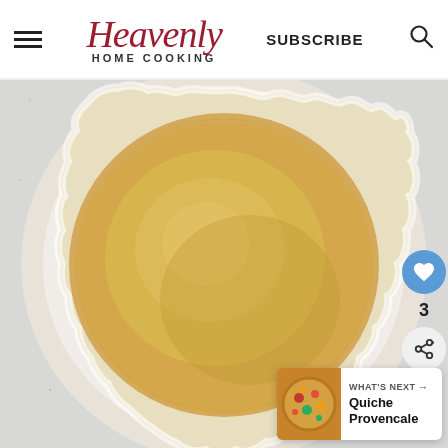Heavenly HOME COOKING | SUBSCRIBE
[Figure (photo): Overhead view of a golden-brown unbaked pie crust in a white fluted ceramic pie dish, sitting on a light gray speckled surface.]
WHAT'S NEXT → Quiche Provencale